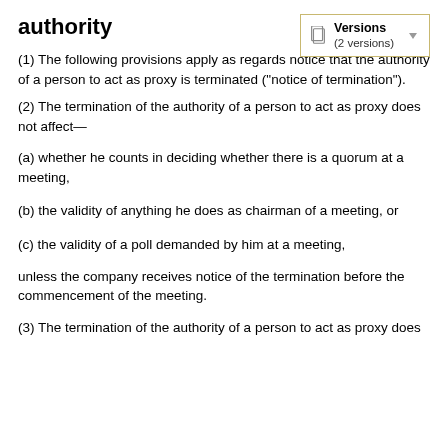authority
[Figure (other): Versions panel showing '(2 versions)' with document icon and dropdown arrow]
(1) The following provisions apply as regards notice that the authority of a person to act as proxy is terminated ("notice of termination").
(2) The termination of the authority of a person to act as proxy does not affect—
(a) whether he counts in deciding whether there is a quorum at a meeting,
(b) the validity of anything he does as chairman of a meeting, or
(c) the validity of a poll demanded by him at a meeting,
unless the company receives notice of the termination before the commencement of the meeting.
(3) The termination of the authority of a person to act as proxy does